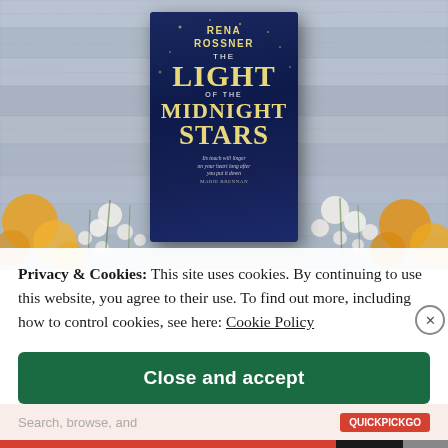[Figure (photo): Photo of the book 'The Light of the Midnight Stars' by Rena Rossner, displayed against a gray wooden plank background surrounded by yellow flowers and white baby's breath]
Privacy & Cookies: This site uses cookies. By continuing to use this website, you agree to their use. To find out more, including how to control cookies, see here: Cookie Policy
Close and accept